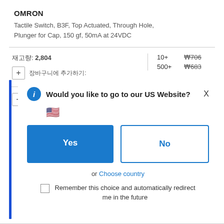OMRON
Tactile Switch, B3F, Top Actuated, Through Hole, Plunger for Cap, 150 gf, 50mA at 24VDC
| Qty | Price |
| --- | --- |
| 10+ | ₩706 |
| 500+ | ₩683 |
[Figure (screenshot): Dialog box asking 'Would you like to go to our US Website?' with Yes and No buttons, US flag, and a 'Choose country' link, plus a remember checkbox.]